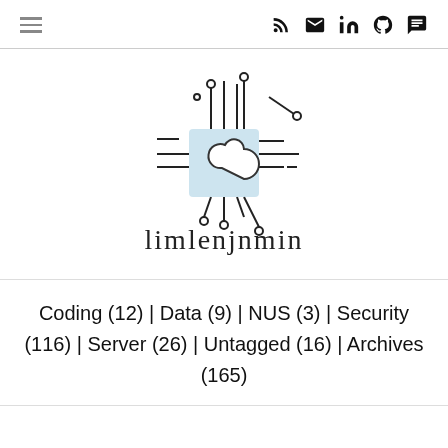≡  RSS Email LinkedIn GitHub Chat
[Figure (logo): Blog logo with circuit/cloud icon and stylized text 'limlenjnmin']
Coding (12) | Data (9) | NUS (3) | Security (116) | Server (26) | Untagged (16) | Archives (165)
SEP 05, 2015